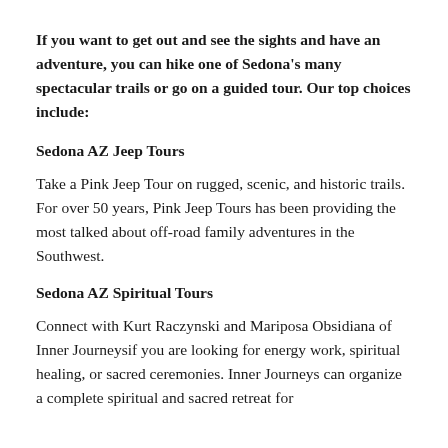If you want to get out and see the sights and have an adventure, you can hike one of Sedona's many spectacular trails or go on a guided tour. Our top choices include:
Sedona AZ Jeep Tours
Take a Pink Jeep Tour on rugged, scenic, and historic trails. For over 50 years, Pink Jeep Tours has been providing the most talked about off-road family adventures in the Southwest.
Sedona AZ Spiritual Tours
Connect with Kurt Raczynski and Mariposa Obsidiana of Inner Journeysif you are looking for energy work, spiritual healing, or sacred ceremonies. Inner Journeys can organize a complete spiritual and sacred retreat for